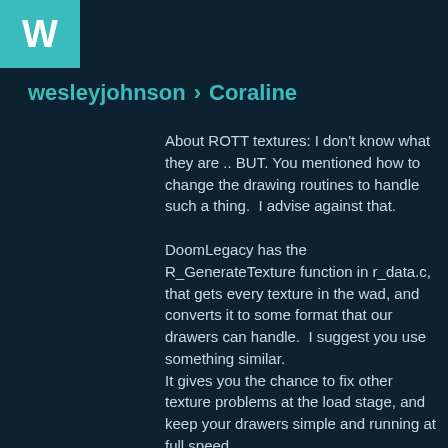[Figure (logo): Teal square logo box with white letter W]
wesleyjohnson > Coraline
About ROTT textures: I don't know what they are .. BUT. You mentioned how to change the drawing routines to handle such a thing.  I advise against that.
DoomLegacy has the R_GenerateTexture function in r_data.c, that gets every texture in the wad, and converts it to some format that our drawers can handle.  I suggest you use something similar.
It gives you the chance to fix other texture problems at the load stage, and keep your drawers simple and running at full speed.
It currently handles some strange wad patches that took advantage of the vanilla doom drawer, but disrupted our new drawers.
Some wad textures used a patch that was smaller than the texture, which caused segfaults.  These are fixed by